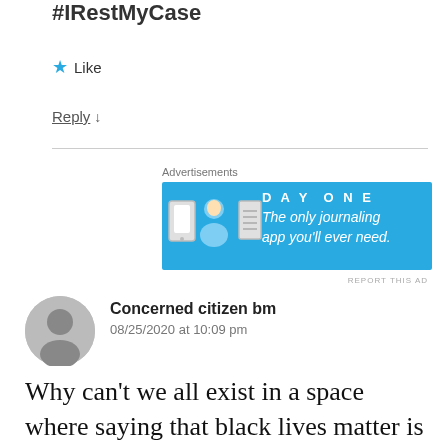#IRestMyCase
★ Like
Reply ↓
[Figure (screenshot): Day One journaling app advertisement banner with blue background. Shows 'DAY ONE' text and tagline 'The only journaling app you'll ever need.' with illustrated icons.]
REPORT THIS AD
Concerned citizen bm
08/25/2020 at 10:09 pm
Why can't we all exist in a space where saying that black lives matter is taken literally. Members of a race are saying